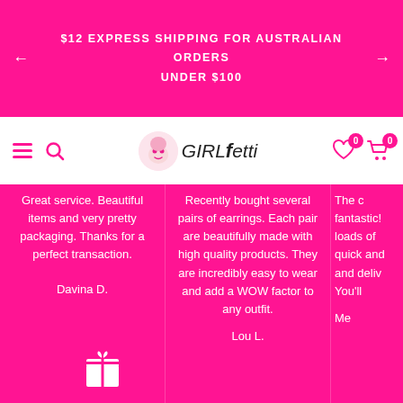$12 EXPRESS SHIPPING FOR AUSTRALIAN ORDERS UNDER $100
[Figure (logo): Girlfetti brand logo with illustrated face and stylized text]
Great service. Beautiful items and very pretty packaging. Thanks for a perfect transaction.

Davina D.
Recently bought several pairs of earrings. Each pair are beautifully made with high quality products. They are incredibly easy to wear and add a WOW factor to any outfit.

Lou L.
The c... fantastic!... loads of... quick and... and deliv... You'll...

Me...
[Figure (illustration): White gift box icon at bottom left of page]